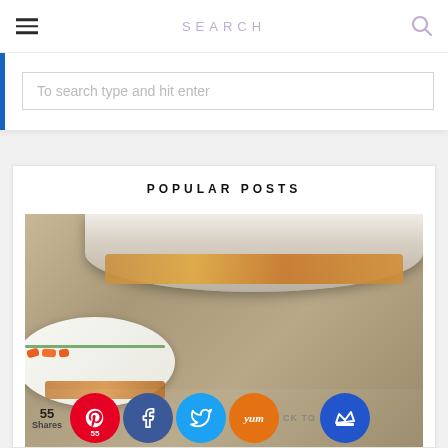SEARCH
To search type and hit enter
POPULAR POSTS
[Figure (photo): Food photo showing a bowl of roasted/diced potatoes and a plate with carrots and seasoned chicken/potato pieces on a burlap background]
55 Shares
[Figure (infographic): Social sharing buttons: Pinterest (55), Facebook, Twitter, Yummly, Crown/push notification. CK TO label visible.]